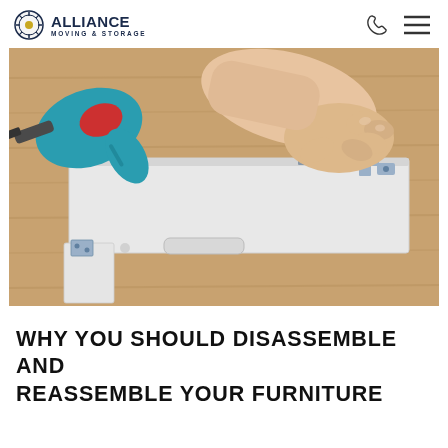ALLIANCE MOVING & STORAGE
[Figure (photo): A person's hand assembling white flat-pack furniture panel with metal brackets, next to a blue and red electric drill on a wooden surface.]
WHY YOU SHOULD DISASSEMBLE AND REASSEMBLE YOUR FURNITURE